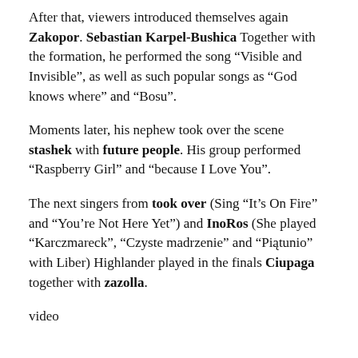After that, viewers introduced themselves again Zakopor. Sebastian Karpel-Bushica Together with the formation, he performed the song “Visible and Invisible”, as well as such popular songs as “God knows where” and “Bosu”.
Moments later, his nephew took over the scene stashek with future people. His group performed “Raspberry Girl” and “because I Love You”.
The next singers from took over (Sing “It’s On Fire” and “You’re Not Here Yet”) and InoRos (She played “Karczmareck”, “Czyste madrzenie” and “Piątunio” with Liber) Highlander played in the finals Ciupaga together with zazolla.
video